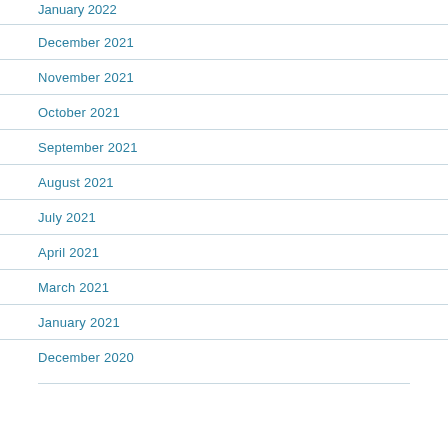January 2022
December 2021
November 2021
October 2021
September 2021
August 2021
July 2021
April 2021
March 2021
January 2021
December 2020